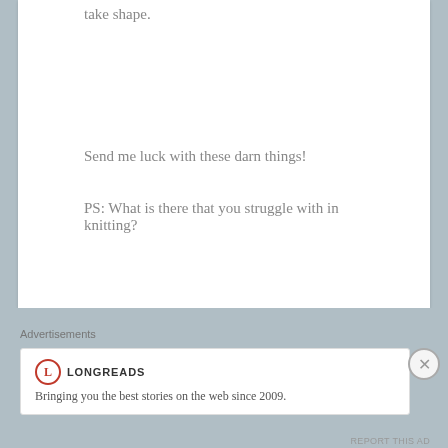take shape.
Send me luck with these darn things!
PS: What is there that you struggle with in knitting?
Advertisements
[Figure (logo): Longreads logo with red circle containing L, followed by LONGREADS text, and tagline: Bringing you the best stories on the web since 2009.]